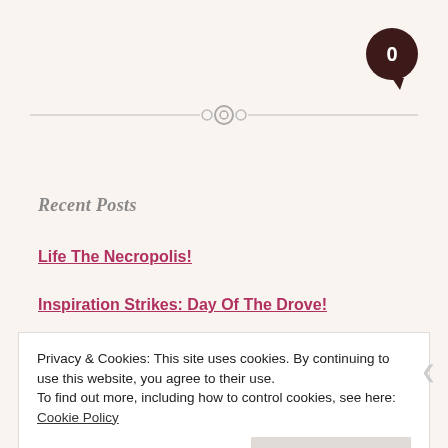[Figure (other): Dark brown speech/comment bubble icon with white number 0 inside, positioned top-right corner]
[Figure (other): Decorative horizontal divider with concentric circle ornament in center, thin lines extending left and right]
Recent Posts
Life The Necropolis!
Inspiration Strikes: Day Of The Drove!
Privacy & Cookies: This site uses cookies. By continuing to use this website, you agree to their use.
To find out more, including how to control cookies, see here: Cookie Policy
Close and accept